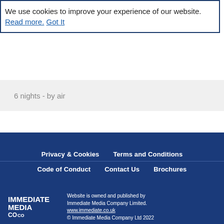We use cookies to improve your experience of our website. Read more. Got It
6 nights - by air
Privacy & Cookies   Terms and Conditions   Code of Conduct   Contact Us   Brochures
IMMEDIATE MEDIA Co   Website is owned and published by Immediate Media Company Limited. www.immediate.co.uk © Immediate Media Company Ltd 2022